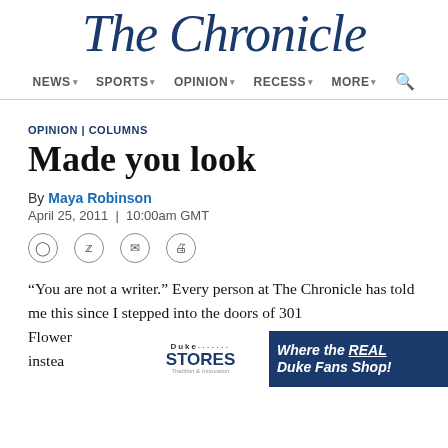The Chronicle
NEWS | SPORTS | OPINION | RECESS | MORE
OPINION | COLUMNS
Made you look
By Maya Robinson
April 25, 2011 | 10:00am GMT
“You are not a writer.” Every person at The Chronicle has told me this since I stepped into the doors of 301 Flower [hallway] instead [... e to
[Figure (advertisement): Duke Stores advertisement banner: white/blue logo area with 'Duke STORES' text and diagonal triangle divider, blue background with italic text 'Where the REAL Duke Fans Shop!']